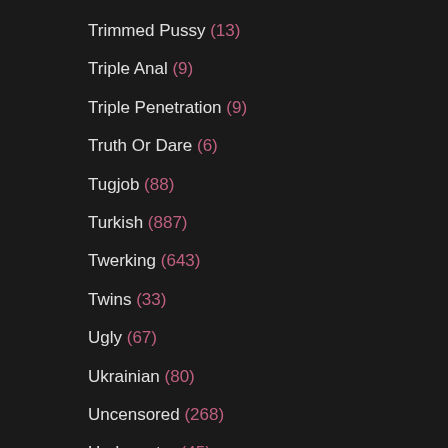Trimmed Pussy (13)
Triple Anal (9)
Triple Penetration (9)
Truth Or Dare (6)
Tugjob (88)
Turkish (887)
Twerking (643)
Twins (33)
Ugly (67)
Ukrainian (80)
Uncensored (268)
Underwater (45)
Underwear (24)
Undressing (48)
Uniform (117)